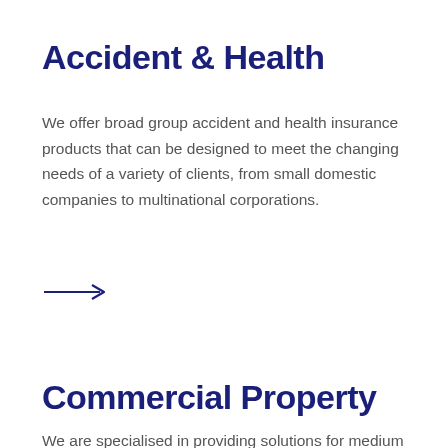Accident & Health
We offer broad group accident and health insurance products that can be designed to meet the changing needs of a variety of clients, from small domestic companies to multinational corporations.
[Figure (illustration): A right-pointing arrow icon in blue/navy color]
Commercial Property
We are specialised in providing solutions for medium